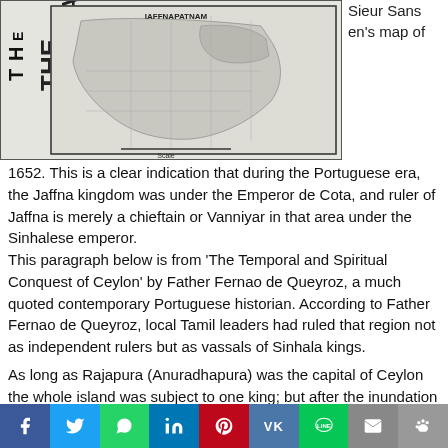[Figure (map): Historical map of Ceylon/Jaffna region, with rotated text 'THE JAFFNA' on left side. Map appears to be a black and white reproduction of an old cartographic image.]
Sieur Sansen's map of
1652. This is a clear indication that during the Portuguese era, the Jaffna kingdom was under the Emperor de Cota, and ruler of Jaffna is merely a chieftain or Vanniyar in that area under the Sinhalese emperor.
This paragraph below is from 'The Temporal and Spiritual Conquest of Ceylon' by Father Fernao de Queyroz, a much quoted contemporary Portuguese historian. According to Father Fernao de Queyroz, local Tamil leaders had ruled that region not as independent rulers but as vassals of Sinhala kings.

As long as Rajapura (Anuradhapura) was the capital of Ceylon the whole island was subject to one king; but after the inundation of the lowlands and after the city of Cota (Kotte) became the metropolis, there were in the island 15 kinglets, subject to the king of Cota, who therefore was considered to be Emperor, and the same title is in these days claimed by the king of
f  Twitter  WhatsApp  in  Pinterest  VK  LINE  Mail  Paw